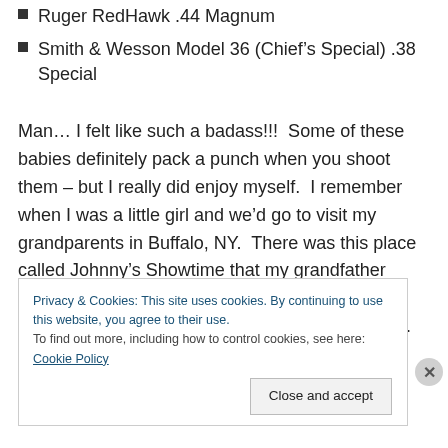Ruger RedHawk .44 Magnum
Smith & Wesson Model 36 (Chief's Special) .38 Special
Man… I felt like such a badass!!!  Some of these babies definitely pack a punch when you shoot them – but I really did enjoy myself.  I remember when I was a little girl and we'd go to visit my grandparents in Buffalo, NY.  There was this place called Johnny's Showtime that my grandfather would always take me to.  They had all kinds of games, mini golf, a ball pit and a shooting gallery.  The
Privacy & Cookies: This site uses cookies. By continuing to use this website, you agree to their use.
To find out more, including how to control cookies, see here: Cookie Policy
[Close and accept]